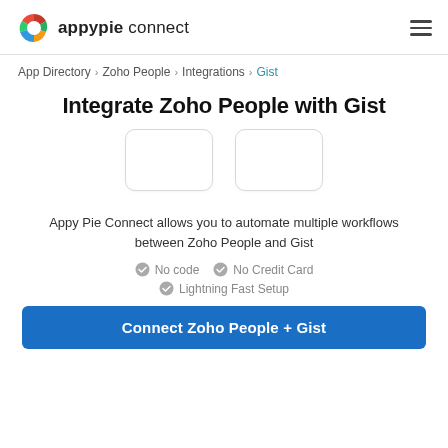appypie connect
App Directory > Zoho People > Integrations > Gist
Integrate Zoho People with Gist
[Figure (other): Two placeholder icon boxes side by side representing Zoho People and Gist logos]
Appy Pie Connect allows you to automate multiple workflows between Zoho People and Gist
No code   No Credit Card   Lightning Fast Setup
Connect Zoho People + Gist